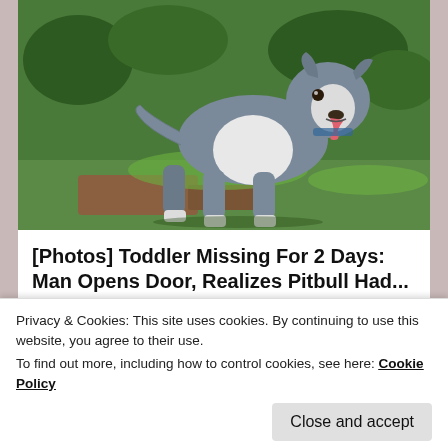[Figure (photo): A gray and white pitbull dog standing on grass and dirt, facing the camera with tongue out]
[Photos] Toddler Missing For 2 Days: Man Opens Door, Realizes Pitbull Had...
12Up
Posted in Fashion, Reviews | Tagged bag, free
Privacy & Cookies: This site uses cookies. By continuing to use this website, you agree to their use.
To find out more, including how to control cookies, see here: Cookie Policy
Close and accept
A Picture A Day